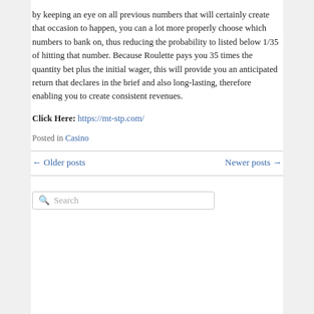by keeping an eye on all previous numbers that will certainly create that occasion to happen, you can a lot more properly choose which numbers to bank on, thus reducing the probability to listed below 1/35 of hitting that number. Because Roulette pays you 35 times the quantity bet plus the initial wager, this will provide you an anticipated return that declares in the brief and also long-lasting, therefore enabling you to create consistent revenues.
Click Here: https://mt-stp.com/
Posted in Casino
← Older posts    Newer posts →
Search